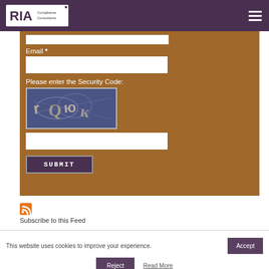[Figure (logo): RIA Compliance Consultants logo with hamburger menu icon on purple header bar]
[Figure (screenshot): Web form with Email field, CAPTCHA security code image, text input, and Submit button on brown background]
Subscribe to this Feed
This website uses cookies to improve your experience.
Accept
Reject
Read More